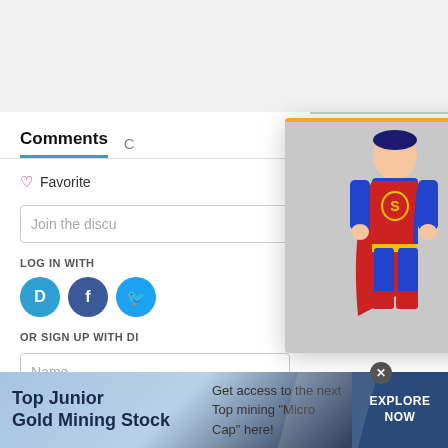Comments
Favorite
Join the discu
LOG IN WITH
OR SIGN UP WITH DI
Name
[Figure (photo): Popup overlay showing three McFarlane Toys DC SuperPowers action figures (Superman, Batman, and a blue armored villain) on a gray background, with a yellow progress bar at top, close/menu buttons, an orange arrow navigation button, and a caption reading 'McFarlane Toys SuperPowerst... flyinto Walmart']
[Figure (infographic): Bottom advertisement banner for 'Top Junior Gold Mining Stock' with text 'Get access to the next Top mining "Micro Cap" here!' and an 'EXPLORE NOW' button on dark blue background with diagonal accent shapes]